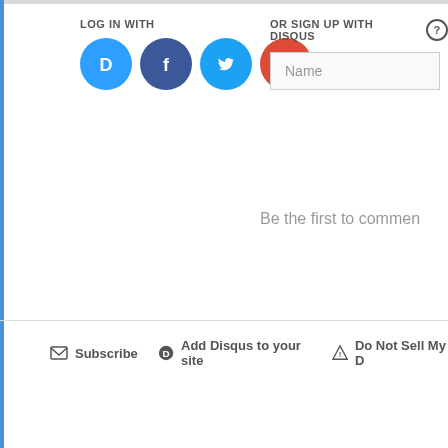LOG IN WITH
[Figure (screenshot): Social login icons: Disqus (blue), Facebook (dark blue), Twitter (light blue), Google (red)]
OR SIGN UP WITH DISQUS
[Figure (screenshot): Name input field]
Be the first to comment
Subscribe
Add Disqus to your site
Do Not Sell My D